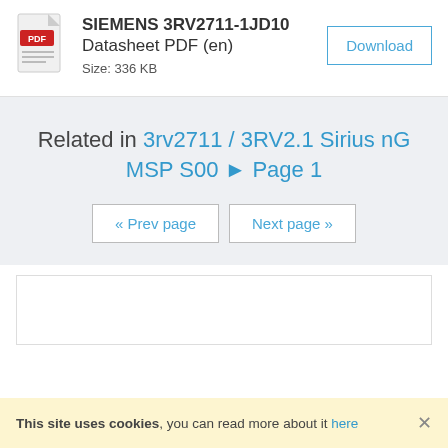SIEMENS 3RV2711-1JD10 Datasheet PDF (en)
Size: 336 KB
Related in 3rv2711 / 3RV2.1 Sirius nG MSP S00 ▸ Page 1
« Prev page
Next page »
This site uses cookies, you can read more about it here